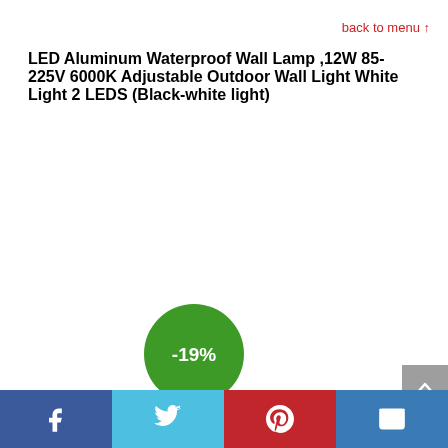back to menu ↑
LED Aluminum Waterproof Wall Lamp ,12W 85-225V 6000K Adjustable Outdoor Wall Light White Light 2 LEDS (Black-white light)
[Figure (infographic): Green circle badge showing -19% discount]
Social share buttons: Facebook, Twitter, Pinterest, Email